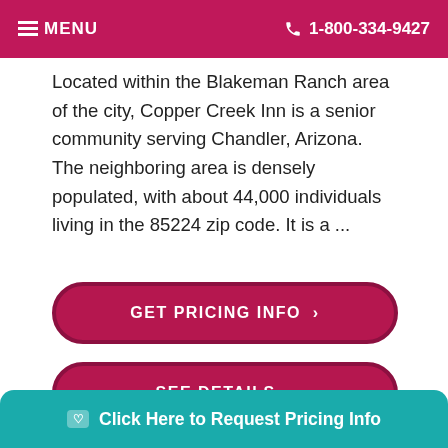≡ MENU  📞 1-800-334-9427
Located within the Blakeman Ranch area of the city, Copper Creek Inn is a senior community serving Chandler, Arizona. The neighboring area is densely populated, with about 44,000 individuals living in the 85224 zip code. It is a ...
GET PRICING INFO ›
SEE DETAILS ›
[Figure (photo): Partial photo of elderly care scene]
Click Here to Request Pricing Info